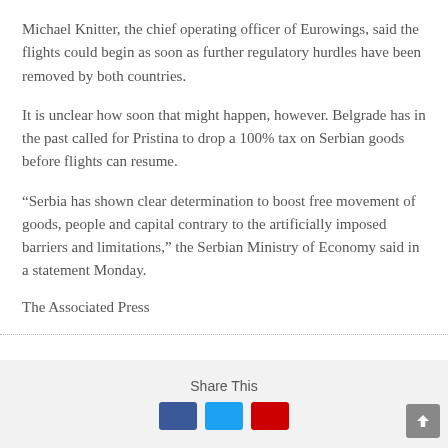Michael Knitter, the chief operating officer of Eurowings, said the flights could begin as soon as further regulatory hurdles have been removed by both countries.
It is unclear how soon that might happen, however. Belgrade has in the past called for Pristina to drop a 100% tax on Serbian goods before flights can resume.
“Serbia has shown clear determination to boost free movement of goods, people and capital contrary to the artificially imposed barriers and limitations,” the Serbian Ministry of Economy said in a statement Monday.
The Associated Press
[Figure (other): Share This section with social media buttons (Facebook, Twitter, and a red button), and a scroll-to-top button on the right.]